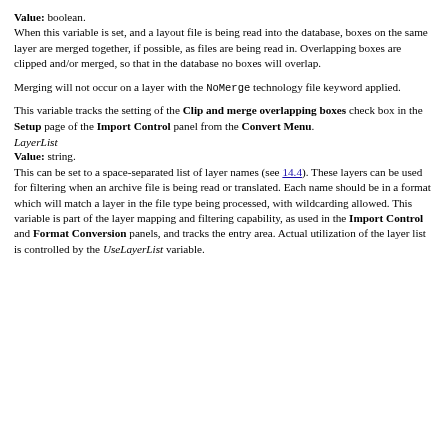Value: boolean.
When this variable is set, and a layout file is being read into the database, boxes on the same layer are merged together, if possible, as files are being read in. Overlapping boxes are clipped and/or merged, so that in the database no boxes will overlap.
Merging will not occur on a layer with the NoMerge technology file keyword applied.
This variable tracks the setting of the Clip and merge overlapping boxes check box in the Setup page of the Import Control panel from the Convert Menu.
LayerList
Value: string.
This can be set to a space-separated list of layer names (see 14.4). These layers can be used for filtering when an archive file is being read or translated. Each name should be in a format which will match a layer in the file type being processed, with wildcarding allowed. This variable is part of the layer mapping and filtering capability, as used in the Import Control and Format Conversion panels, and tracks the entry area. Actual utilization of the layer list is controlled by the UseLayerList variable.